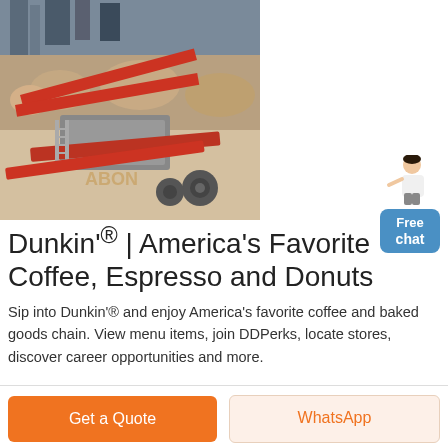[Figure (photo): Industrial mining/crushing machinery with red conveyor belts and equipment at a construction or quarry site, with rocky terrain and industrial structures in background.]
[Figure (illustration): Chat widget showing a woman in white outfit pointing, with a blue 'Free chat' button below.]
Dunkin'® | America's Favorite Coffee, Espresso and Donuts
Sip into Dunkin'® and enjoy America's favorite coffee and baked goods chain. View menu items, join DDPerks, locate stores, discover career opportunities and more.
Get a Quote
WhatsApp